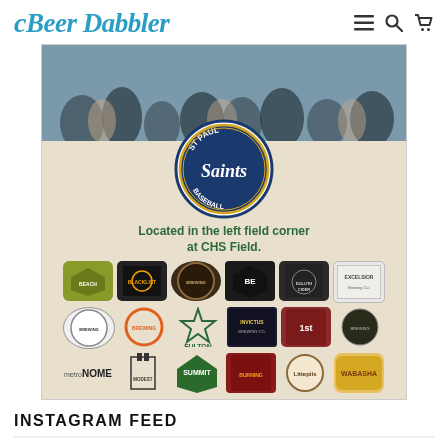Beer Dabbler
[Figure (photo): Promotional banner for Beer Dabbler at CHS Field featuring St. Paul Saints Baseball logo, crowd photo in background, text reading 'Located in the left field corner at CHS Field.' and brewery/sponsor logos including Blacklist, Fulton, Invictus Brewing Co., Excelsior, Summit, Wabasha, Littepils, Modest Brewing, metroNOME, and others.]
INSTAGRAM FEED